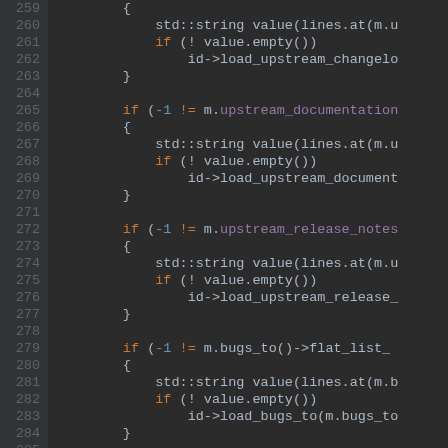[Figure (screenshot): Code editor screenshot showing C++ source code lines 259-285, dark theme. Code involves loading upstream changelog, documentation, release notes, bugs, and remote ids from a metadata object.]